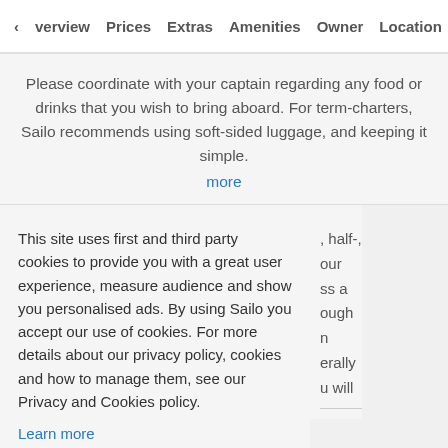Overview  Prices  Extras  Amenities  Owner  Location
Please coordinate with your captain regarding any food or drinks that you wish to bring aboard. For term-charters, Sailo recommends using soft-sided luggage, and keeping it simple.
more
This site uses first and third party cookies to provide you with a great user experience, measure audience and show you personalised ads. By using Sailo you accept our use of cookies. For more details about our privacy policy, cookies and how to manage them, see our Privacy and Cookies policy.
Learn more
Got it!
, half-, our ss a ough n erally u will
wner